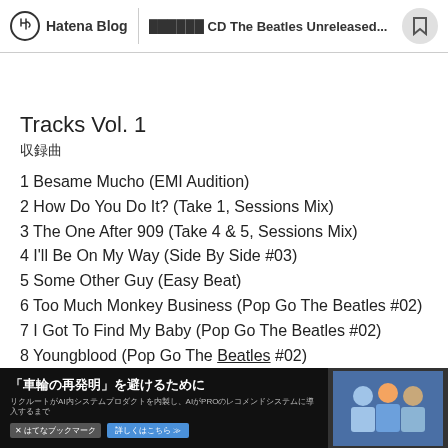Hatena Blog | ██████ CD The Beatles Unreleased...
Tracks Vol. 1
収録曲
1 Besame Mucho (EMI Audition)
2 How Do You Do It? (Take 1, Sessions Mix)
3 The One After 909 (Take 4 & 5, Sessions Mix)
4 I'll Be On My Way (Side By Side #03)
5 Some Other Guy (Easy Beat)
6 Too Much Monkey Business (Pop Go The Beatles #02)
7 I Got To Find My Baby (Pop Go The Beatles #02)
8 Youngblood (Pop Go The Beatles #02)
9 A Shot Of Rhythm And Blues (Pop Go The Beatles
[Figure (screenshot): Advertisement banner: 「車輪の再発明」を避けるために with Japanese text and a photo of three people]